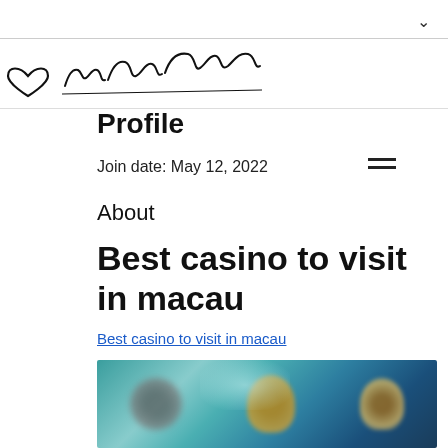[Figure (illustration): Handwritten cursive script 'may elaine' with a small heart/arrow doodle to the left, above the word Profile]
Profile
Join date: May 12, 2022
About
Best casino to visit in macau
Best casino to visit in macau
[Figure (photo): Blurred photograph showing casino-related scene with people in colorful attire against a teal/blue background]